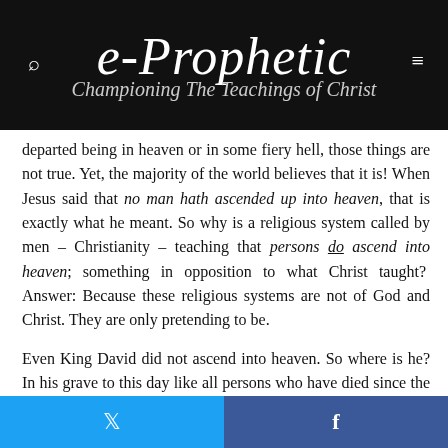e-Prophetic — Championing The Teachings of Christ
departed being in heaven or in some fiery hell, those things are not true. Yet, the majority of the world believes that it is! When Jesus said that no man hath ascended up into heaven, that is exactly what he meant. So why is a religious system called by men – Christianity – teaching that persons do ascend into heaven; something in opposition to what Christ taught?  Answer: Because these religious systems are not of God and Christ. They are only pretending to be.
Even King David did not ascend into heaven. So where is he? In his grave to this day like all persons who have died since the beginning, awaiting a resurrection from the dead by Christ. (Acts 2:34)